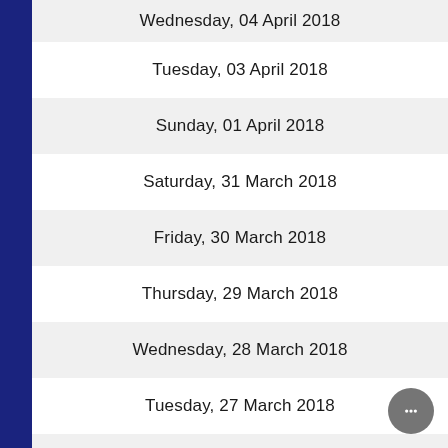Wednesday, 04 April 2018
Tuesday, 03 April 2018
Sunday, 01 April 2018
Saturday, 31 March 2018
Friday, 30 March 2018
Thursday, 29 March 2018
Wednesday, 28 March 2018
Tuesday, 27 March 2018
Sunday, 25 March 2018
Saturday, 24 March 2018
Friday, 23 March 2018